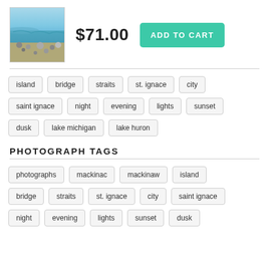[Figure (photo): Product photo of a beach/shoreline scene with rocks and water]
$71.00
ADD TO CART
island
bridge
straits
st. ignace
city
saint ignace
night
evening
lights
sunset
dusk
lake michigan
lake huron
PHOTOGRAPH TAGS
photographs
mackinac
mackinaw
island
bridge
straits
st. ignace
city
saint ignace
night
evening
lights
sunset
dusk